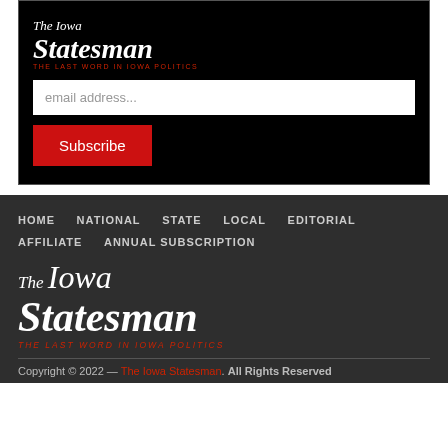[Figure (logo): The Iowa Statesman logo — white serif italic text on black background with red tagline 'The Last Word In Iowa Politics']
email address...
Subscribe
HOME    NATIONAL    STATE    LOCAL    EDITORIAL    AFFILIATE    ANNUAL SUBSCRIPTION
[Figure (logo): The Iowa Statesman large footer logo — white serif italic text on dark background with red tagline 'The Last Word In Iowa Politics']
Copyright © 2022 — The Iowa Statesman. All Rights Reserved